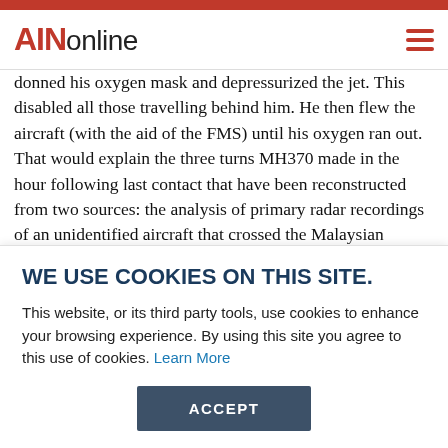AINonline
donned his oxygen mask and depressurized the jet. This disabled all those travelling behind him. He then flew the aircraft (with the aid of the FMS) until his oxygen ran out. That would explain the three turns MH370 made in the hour following last contact that have been reconstructed from two sources: the analysis of primary radar recordings of an unidentified aircraft that crossed the Malaysian
WE USE COOKIES ON THIS SITE.
This website, or its third party tools, use cookies to enhance your browsing experience. By using this site you agree to this use of cookies. Learn More
ACCEPT